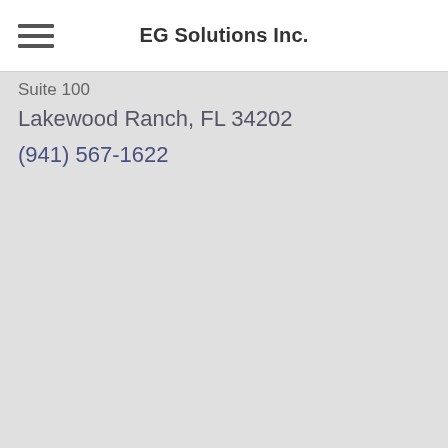EG Solutions Inc.
Suite 100
Lakewood Ranch, FL 34202
(941) 567-1622